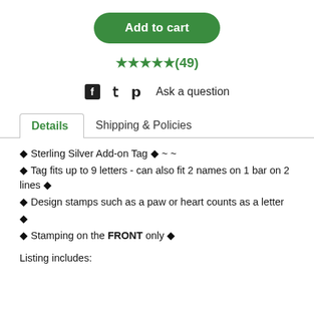Add to cart
★★★★★(49)
f  🐦  𝗽  Ask a question
Details  |  Shipping & Policies
◆ Sterling Silver Add-on Tag ◆ ~ ~
◆ Tag fits up to 9 letters - can also fit 2 names on 1 bar on 2 lines ◆
◆ Design stamps such as a paw or heart counts as a letter
◆
◆ Stamping on the FRONT only ◆
Listing includes: